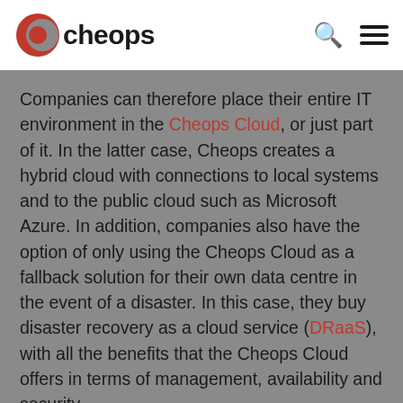cheops
Companies can therefore place their entire IT environment in the Cheops Cloud, or just part of it. In the latter case, Cheops creates a hybrid cloud with connections to local systems and to the public cloud such as Microsoft Azure. In addition, companies also have the option of only using the Cheops Cloud as a fallback solution for their own data centre in the event of a disaster. In this case, they buy disaster recovery as a cloud service (DRaaS), with all the benefits that the Cheops Cloud offers in terms of management, availability and security.